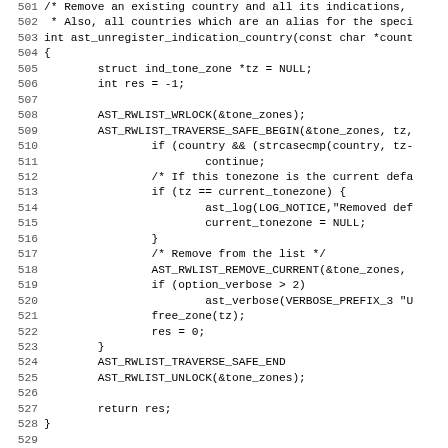Source code listing, lines 501-533, showing ast_unregister_indication_country and ast_register_indication functions in C